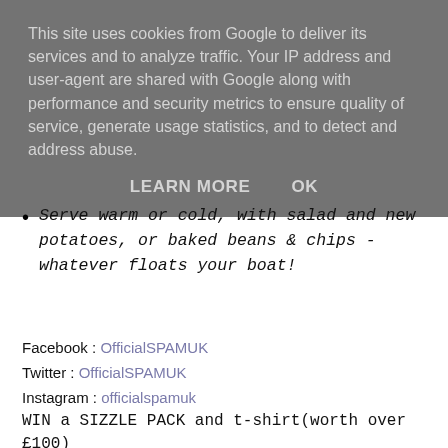This site uses cookies from Google to deliver its services and to analyze traffic. Your IP address and user-agent are shared with Google along with performance and security metrics to ensure quality of service, generate usage statistics, and to detect and address abuse.
LEARN MORE    OK
Serve warm or cold, with salad and new potatoes, or baked beans & chips - whatever floats your boat!
Facebook : OfficialSPAMUK
Twitter : OfficialSPAMUK
Instagram : officialspamuk
WIN a SIZZLE PACK and t-shirt(worth over £100)